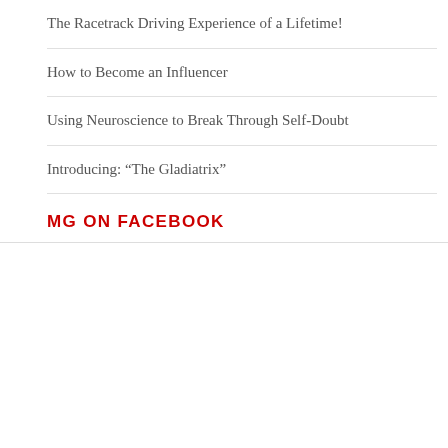The Racetrack Driving Experience of a Lifetime!
How to Become an Influencer
Using Neuroscience to Break Through Self-Doubt
Introducing: “The Gladiatrix”
MG ON FACEBOOK